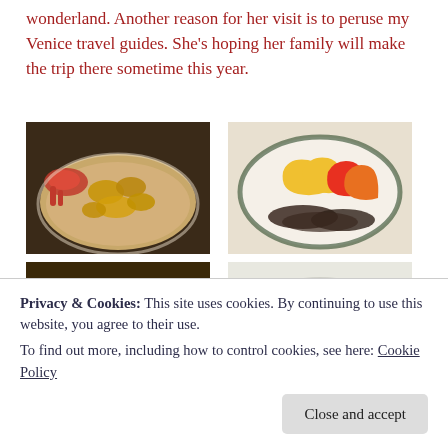wonderland. Another reason for her visit is to peruse my Venice travel guides. She's hoping her family will make the trip there sometime this year.
[Figure (photo): A plate of fried seafood including lobster claws and shrimp]
[Figure (photo): A plate of sliced red and yellow bell peppers with grilled meat]
[Figure (photo): A pan of rice dish, possibly paella or fried rice]
[Figure (photo): A bowl of green salad with tomatoes and dressing]
Privacy & Cookies: This site uses cookies. By continuing to use this website, you agree to their use.
To find out more, including how to control cookies, see here: Cookie Policy